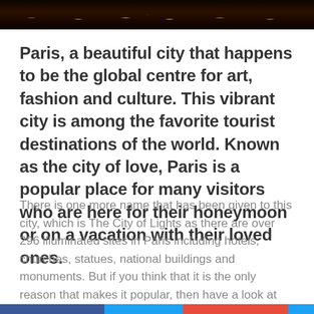[Figure (photo): Night cityscape photo strip showing illuminated city lights against a dark background]
Paris, a beautiful city that happens to be the global centre for art, fashion and culture. This vibrant city is among the favorite tourist destinations of the world. Known as the city of love, Paris is a popular place for many visitors who are here for their honeymoon or on a vacation with their loved ones.
There is one more name that has been given to this city, which is The City of Lights as there are over 296 illuminated sites in Paris including hotels, churches, statues, national buildings and monuments. But if you think that it is the only reason that makes it popular, then have a look at the top reasons of why you should visit Paris soon and feel the charisma yourself.